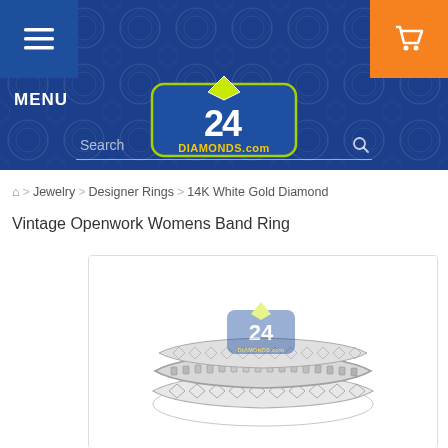[Figure (screenshot): 24Diamonds.com website header with dark blue background and decorative pattern. Includes hamburger menu button (dark blue), cart button (orange), MENU text, 24 Diamonds logo, and search bar.]
🏠 > Jewelry > Designer Rings > 14K White Gold Diamond Vintage Openwork Womens Band Ring
14K White Gold Diamond Vintage Openwork Womens Band Ring
[Figure (photo): Photo of a 14K white gold diamond vintage openwork womens band ring, showing two stacked rings with ornate filigree design and channel-set diamonds. Watermark of 24Diamonds.com logo overlaid.]